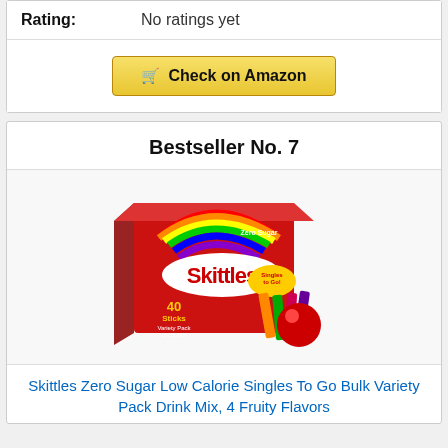Rating: No ratings yet
Check on Amazon
Bestseller No. 7
[Figure (photo): Skittles Zero Sugar Singles To Go Bulk Variety Pack Drink Mix box, red box with rainbow, 40 sticks]
Skittles Zero Sugar Low Calorie Singles To Go Bulk Variety Pack Drink Mix, 4 Fruity Flavors